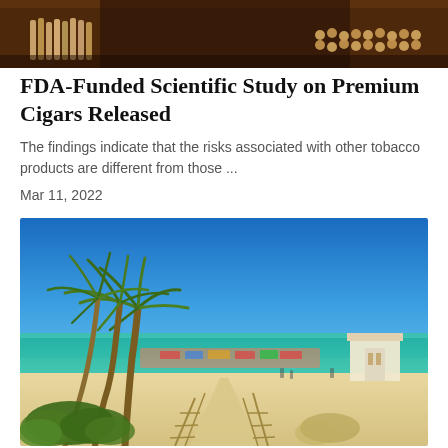[Figure (photo): Top portion of a cigar shop interior showing cigars displayed on wooden shelves with warm lighting]
FDA-Funded Scientific Study on Premium Cigars Released
The findings indicate that the risks associated with other tobacco products are different from those ...
Mar 11, 2022
[Figure (photo): Tropical beach scene with tall palm trees, white sandy beach, turquoise ocean water, and blue sky. People visible on the beach with a lifeguard tower in the background.]